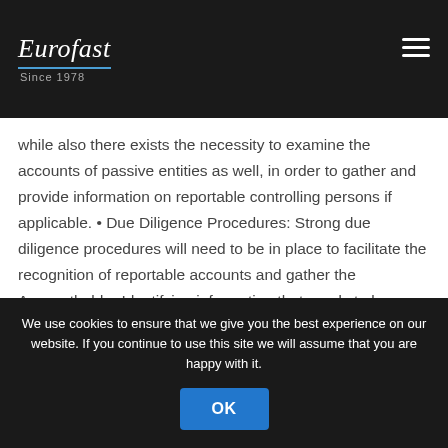Eurofast Since 1978
while also there exists the necessity to examine the accounts of passive entities as well, in order to gather and provide information on reportable controlling persons if applicable. • Due Diligence Procedures: Strong due diligence procedures will need to be in place to facilitate the recognition of reportable accounts and gather the Accountholder Identifying information that needs to be reported for such accounts.
We use cookies to ensure that we give you the best experience on our website. If you continue to use this site we will assume that you are happy with it.